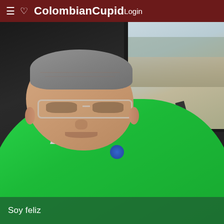≡ ♡ ColombianCupid  Login
[Figure (photo): A middle-aged man with gray hair and clear-framed glasses wearing a green polo shirt, sitting in a car with a seatbelt on. Outdoor urban scene visible through the car window in the background.]
Soy feliz